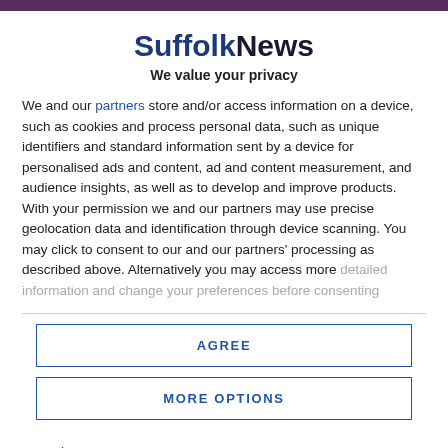SuffolkNews
We value your privacy
We and our partners store and/or access information on a device, such as cookies and process personal data, such as unique identifiers and standard information sent by a device for personalised ads and content, ad and content measurement, and audience insights, as well as to develop and improve products. With your permission we and our partners may use precise geolocation data and identification through device scanning. You may click to consent to our and our partners' processing as described above. Alternatively you may access more detailed information and change your preferences before consenting
AGREE
MORE OPTIONS
upgrade.